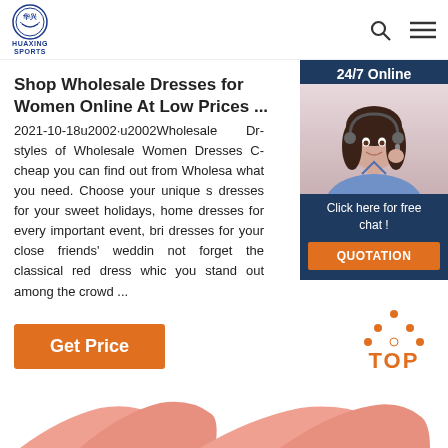HUAXING SPORTS logo with search and menu icons
Shop Wholesale Dresses for Women Online At Low Prices ...
2021-10-18u2002·u2002Wholesale Dresses styles of Wholesale Women Dresses C cheap you can find out from Wholesa what you need. Choose your unique s dresses for your sweet holidays, home dresses for every important event, bri dresses for your close friends' weddin not forget the classical red dress whic you stand out among the crowd ...
Get Price
[Figure (photo): Customer service representative chat widget with '24/7 Online' header, photo of woman with headset, 'Click here for free chat!' text, and QUOTATION button]
[Figure (illustration): TOP back-to-top button with orange dotted triangle and orange TOP text]
[Figure (photo): Partial view of pink/salmon colored dresses at bottom of page]